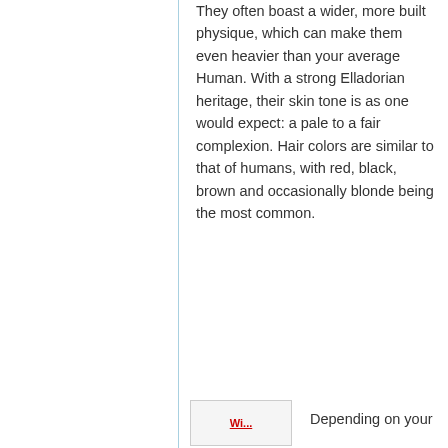They often boast a wider, more built physique, which can make them even heavier than your average Human. With a strong Elladorian heritage, their skin tone is as one would expect: a pale to a fair complexion. Hair colors are similar to that of humans, with red, black, brown and occasionally blonde being the most common.
[Figure (other): Partial image/screenshot placeholder with red underlined text, partially visible at bottom of page]
Depending on your